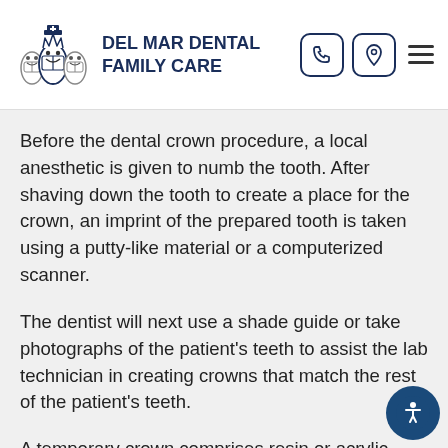DEL MAR DENTAL FAMILY CARE
Before the dental crown procedure, a local anesthetic is given to numb the tooth. After shaving down the tooth to create a place for the crown, an imprint of the prepared tooth is taken using a putty-like material or a computerized scanner.
The dentist will next use a shade guide or take photographs of the patient's teeth to assist the lab technician in creating crowns that match the rest of the patient's teeth.
A temporary crown comprises resin or acrylic material and is fitted over the original tooth using